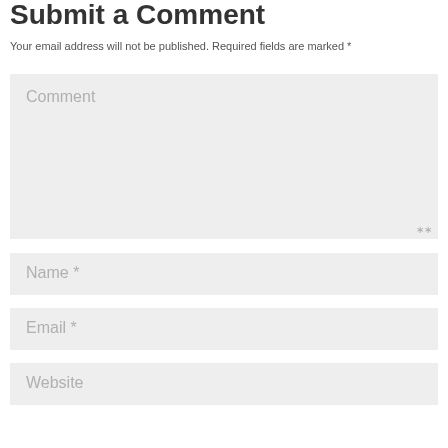Submit a Comment
Your email address will not be published. Required fields are marked *
[Figure (screenshot): A large text area input field with placeholder text 'Comment']
[Figure (screenshot): A text input field with placeholder text 'Name *']
[Figure (screenshot): A text input field with placeholder text 'Email *']
[Figure (screenshot): A text input field with placeholder text 'Website']